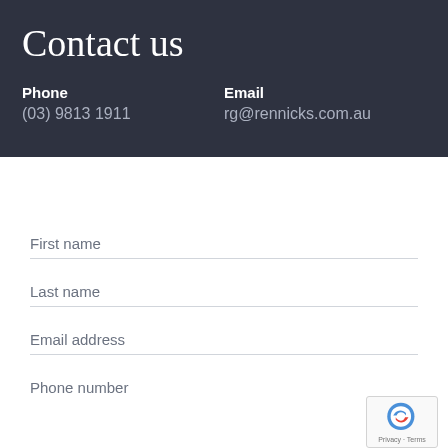Contact us
Phone
(03) 9813 1911
Email
rg@rennicks.com.au
First name
Last name
Email address
Phone number